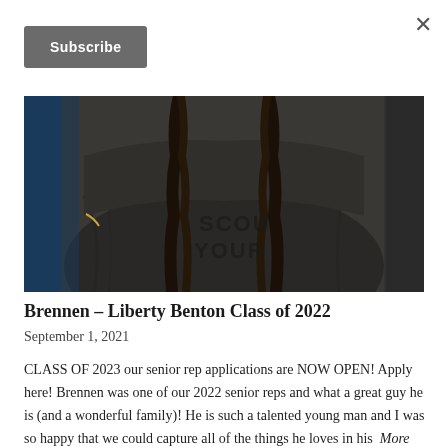×
Subscribe
[Figure (photo): Close-up photo of a person wearing a dark grey wet t-shirt with text on it, with long braided hair hanging down, against a blue background]
Brennen – Liberty Benton Class of 2022
September 1, 2021
CLASS OF 2023 our senior rep applications are NOW OPEN! Apply here! Brennen was one of our 2022 senior reps and what a great guy he is (and a wonderful family)! He is such a talented young man and I was so happy that we could capture all of the things he loves in his… More